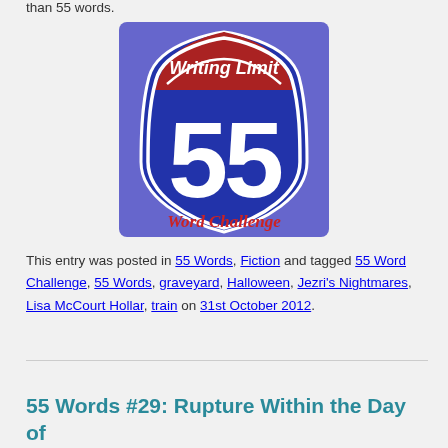than 55 words.
[Figure (illustration): Interstate highway shield badge styled image reading 'Writing Limit 55 Word Challenge' in red and blue colors]
This entry was posted in 55 Words, Fiction and tagged 55 Word Challenge, 55 Words, graveyard, Halloween, Jezri's Nightmares, Lisa McCourt Hollar, train on 31st October 2012.
55 Words #29: Rupture Within the Day of